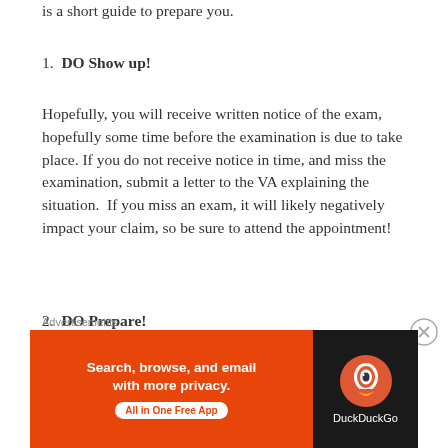is a short guide to prepare you.
1. DO Show up!
Hopefully, you will receive written notice of the exam, hopefully some time before the examination is due to take place. If you do not receive notice in time, and miss the examination, submit a letter to the VA explaining the situation.  If you miss an exam, it will likely negatively impact your claim, so be sure to attend the appointment!
2. DO Prepare!
Before you even go to the examination, you have some homework to do. You need to make a comprehensive
[Figure (other): Advertisement banner for DuckDuckGo app: orange left panel with text 'Search, browse, and email with more privacy. All in One Free App' and dark right panel with DuckDuckGo logo and brand name.]